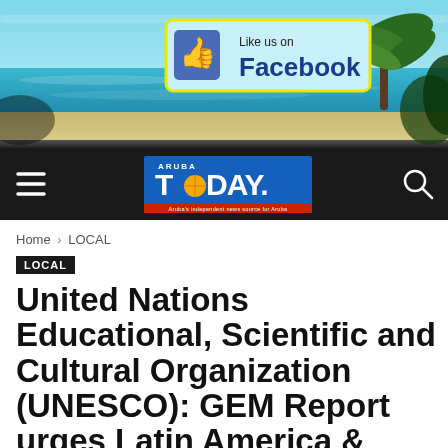[Figure (screenshot): Beach photo banner with tropical beach scene — turquoise water, sandy shore, palm trees on right, blue sky]
[Figure (logo): Facebook 'Like us on Facebook' advertisement box with thumbs up icon, yellow border, light blue background]
[Figure (logo): Aruba Today newspaper logo on dark nav bar with hamburger menu and search icon]
Home › LOCAL
LOCAL
United Nations Educational, Scientific and Cultural Organization (UNESCO): GEM Report urges Latin America & Caribbean to promote inclusion in education during COVID-19